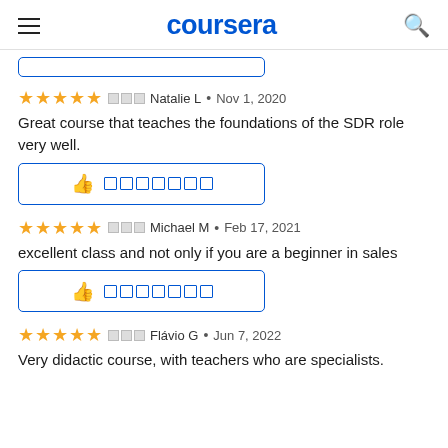coursera
[Figure (screenshot): Partial blue outlined button at top of content area]
★★★★★ □□□ Natalie L • Nov 1, 2020
Great course that teaches the foundations of the SDR role very well.
[Figure (screenshot): Helpful button with thumbs up icon and redacted text]
★★★★★ □□□ Michael M • Feb 17, 2021
excellent class and not only if you are a beginner in sales
[Figure (screenshot): Helpful button with thumbs up icon and redacted text]
★★★★★ □□□ Flávio G • Jun 7, 2022
Very didactic course, with teachers who are specialists.